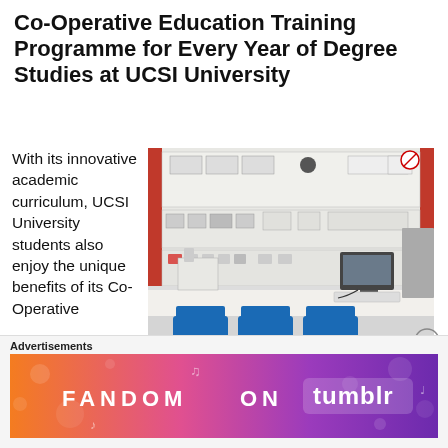Co-Operative Education Training Programme for Every Year of Degree Studies at UCSI University
With its innovative academic curriculum, UCSI University students also enjoy the unique benefits of its Co-Operative
[Figure (photo): Control, Instrumentation Pneumatics & Hydraulics Lab at UCSI University — a laboratory workbench with electronic/pneumatic training panels, computer monitors, and lab equipment, with blue chairs in the foreground.]
Control, Instrumentation Pneumatics & Hydraulics Lab at UCSI University
Advertisements
[Figure (infographic): Fandom on Tumblr advertisement banner with colorful orange-to-purple gradient background and white text.]